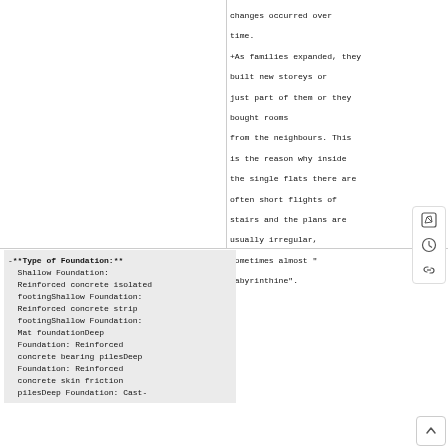changes occurred over time.
+As families expanded, they built new storeys or just part of them or they bought rooms from the neighbours. This is the reason why inside the single flats there are often short flights of stairs and the plans are usually irregular, sometimes almost "labyrinthine".
-**Type of Foundation:** Shallow Foundation: Reinforced concrete isolated footingShallow Foundation: Reinforced concrete strip footingShallow Foundation: Mat foundationDeep Foundation: Reinforced concrete bearing pilesDeep Foundation: Reinforced concrete skin friction pilesDeep Foundation: Cast-